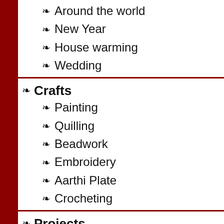Around the world
New Year
House warming
Wedding
Crafts
Painting
Quilling
Beadwork
Embroidery
Aarthi Plate
Crocheting
Projects
Framed art
Embroidery
Landscaping
T-Shirt